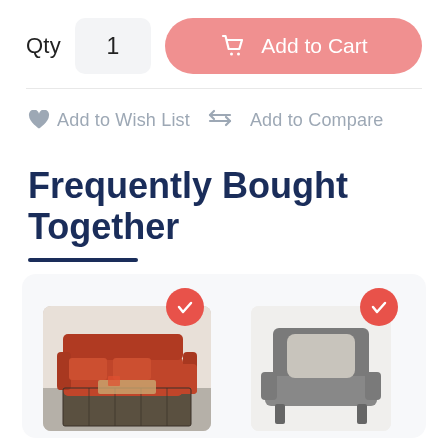Qty  1
Add to Cart
♥ Add to Wish List  ⇄ Add to Compare
Frequently Bought Together
[Figure (photo): Two furniture product cards with red check badges: left shows a red sectional sofa with a rug, right shows a grey armchair with pillow]